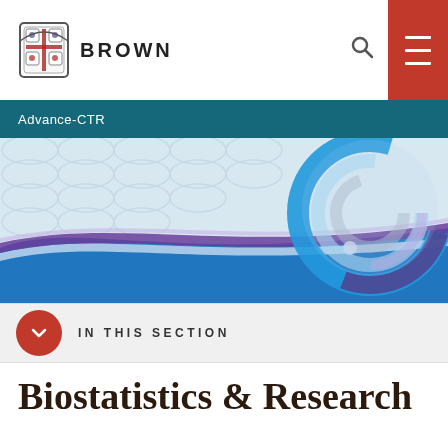BROWN
Advance-CTR
[Figure (illustration): Abstract hero banner with blue and purple wave design and a circular ring/lens graphic element on the right side]
IN THIS SECTION
Biostatistics & Research